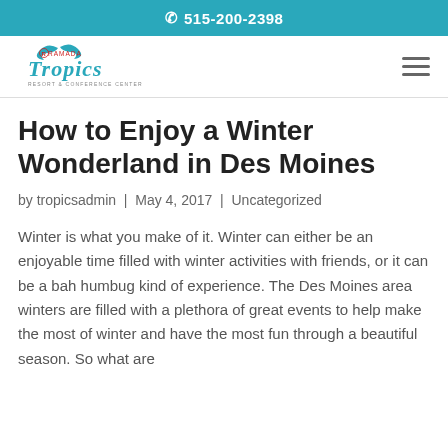515-200-2398
[Figure (logo): Ramada Tropics Resort & Conference Center logo in teal and red cursive lettering]
How to Enjoy a Winter Wonderland in Des Moines
by tropicsadmin | May 4, 2017 | Uncategorized
Winter is what you make of it. Winter can either be an enjoyable time filled with winter activities with friends, or it can be a bah humbug kind of experience. The Des Moines area winters are filled with a plethora of great events to help make the most of winter and have the most fun through a beautiful season. So what are